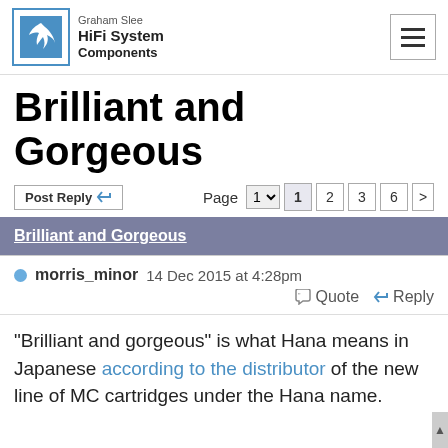Graham Slee HiFi System Components
Brilliant and Gorgeous
Post Reply | Page 1 2 3 6 >
Brilliant and Gorgeous
morris_minor 14 Dec 2015 at 4:28pm
Quote  Reply
"Brilliant and gorgeous" is what Hana means in Japanese according to the distributor of the new line of MC cartridges under the Hana name.